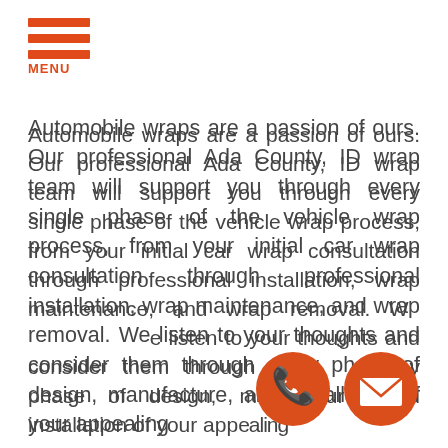MENU
Automobile wraps are a passion of ours. Our professional Ada County, ID wrap team will support you through every single phase of the vehicle wrap process, from your initial car wrap consultation through professional installation, wrap maintenance, and wrap removal. We listen to your thoughts and consider them through every phase of design, manufacture, and installation of your appealing
[Figure (illustration): Orange circular phone icon (call button)]
[Figure (illustration): Orange circular email/envelope icon (contact button)]